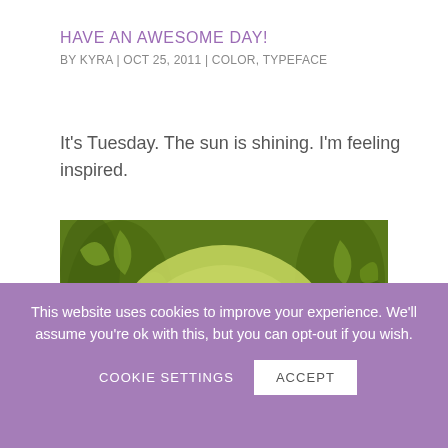HAVE AN AWESOME DAY!
BY KYRA | OCT 25, 2011 | COLOR, TYPEFACE
It's Tuesday. The sun is shining. I'm feeling inspired.
[Figure (illustration): Green botanical/paisley patterned background with a large light yellow-green circle in the center, with white bold text reading 'HAVE AN AWESOME' overlaid on it.]
This website uses cookies to improve your experience. We'll assume you're ok with this, but you can opt-out if you wish.
COOKIE SETTINGS    ACCEPT